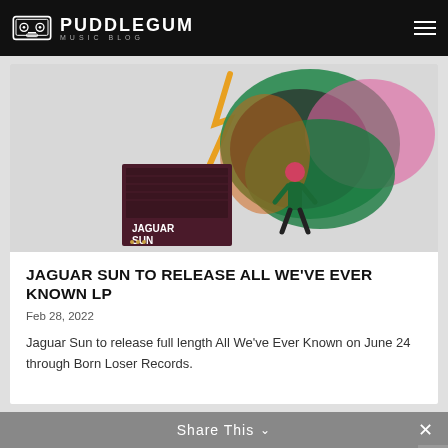PUDDLEGUM MUSIC BLOG
[Figure (illustration): Album artwork for Jaguar Sun 'All We've Ever Known' showing a small album cover in the lower left with 'JAGUAR SUN' text, and a large abstract illustration of a person standing before swirling colorful shapes in green, pink, orange, and dark tones on a light grey background.]
JAGUAR SUN TO RELEASE ALL WE'VE EVER KNOWN LP
Feb 28, 2022
Jaguar Sun to release full length All We've Ever Known on June 24 through Born Loser Records.
Share This